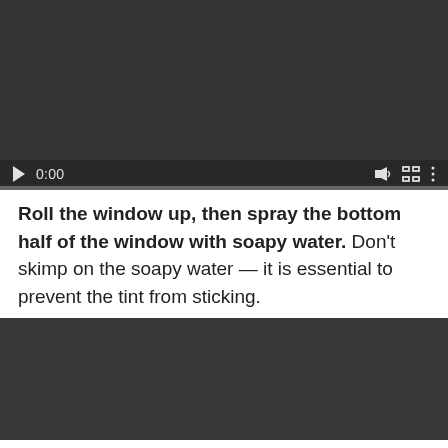[Figure (screenshot): Video player with dark background showing paused state at 0:00, with play button, time display, volume icon, fullscreen icon, and more options icon. Progress bar at bottom.]
Roll the window up, then spray the bottom half of the window with soapy water. Don't skimp on the soapy water — it is essential to prevent the tint from sticking.
[Figure (screenshot): Second video player with dark gray background, paused state.]